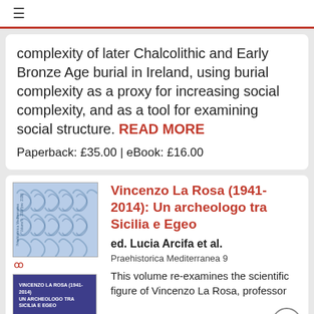≡
complexity of later Chalcolithic and Early Bronze Age burial in Ireland, using burial complexity as a proxy for increasing social complexity, and as a tool for examining social structure. READ MORE
Paperback: £35.00 | eBook: £16.00
Vincenzo La Rosa (1941-2014): Un archeologo tra Sicilia e Egeo
ed. Lucia Arcifa et al.
Praehistorica Mediterranea 9
This volume re-examines the scientific figure of Vincenzo La Rosa, professor